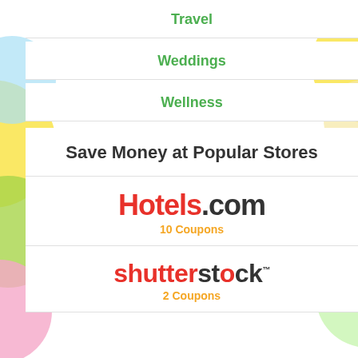Travel
Weddings
Wellness
Save Money at Popular Stores
[Figure (logo): Hotels.com logo with red 'Hotels' text and dark '.com' text]
10 Coupons
[Figure (logo): Shutterstock logo in red and dark text with trademark symbol]
2 Coupons